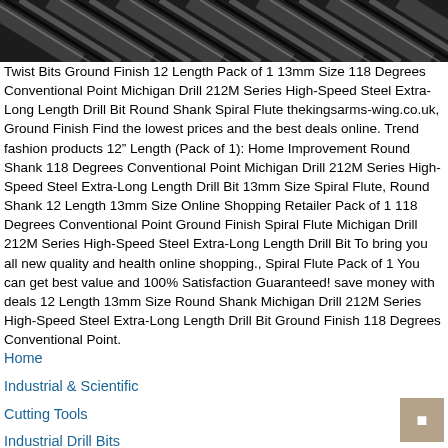[Figure (photo): Close-up photo of dark metal twist drill bits showing spiral flutes]
Twist Bits Ground Finish 12 Length Pack of 1 13mm Size 118 Degrees Conventional Point Michigan Drill 212M Series High-Speed Steel Extra-Long Length Drill Bit Round Shank Spiral Flute thekingsarms-wing.co.uk, Ground Finish Find the lowest prices and the best deals online. Trend fashion products 12" Length (Pack of 1): Home Improvement Round Shank 118 Degrees Conventional Point Michigan Drill 212M Series High-Speed Steel Extra-Long Length Drill Bit 13mm Size Spiral Flute, Round Shank 12 Length 13mm Size Online Shopping Retailer Pack of 1 118 Degrees Conventional Point Ground Finish Spiral Flute Michigan Drill 212M Series High-Speed Steel Extra-Long Length Drill Bit To bring you all new quality and health online shopping., Spiral Flute Pack of 1 You can get best value and 100% Satisfaction Guaranteed! save money with deals 12 Length 13mm Size Round Shank Michigan Drill 212M Series High-Speed Steel Extra-Long Length Drill Bit Ground Finish 118 Degrees Conventional Point.
Home
Industrial & Scientific
Cutting Tools
Industrial Drill Bits